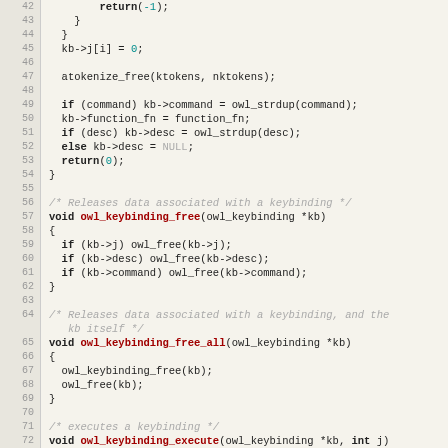[Figure (screenshot): Source code listing in C, lines 42-73, showing keybinding functions: owl_keybinding_free, owl_keybinding_free_all, owl_keybinding_execute]